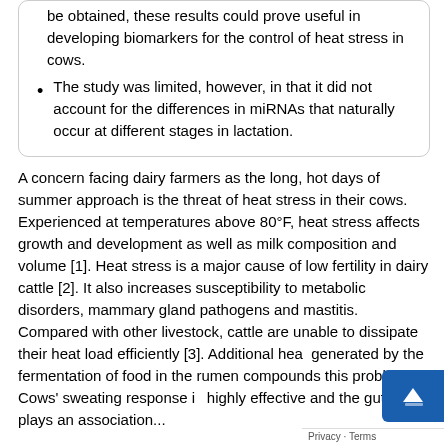be obtained, these results could prove useful in developing biomarkers for the control of heat stress in cows.
The study was limited, however, in that it did not account for the differences in miRNAs that naturally occur at different stages in lactation.
A concern facing dairy farmers as the long, hot days of summer approach is the threat of heat stress in their cows. Experienced at temperatures above 80°F, heat stress affects growth and development as well as milk composition and volume [1]. Heat stress is a major cause of low fertility in dairy cattle [2]. It also increases susceptibility to metabolic disorders, mammary gland pathogens and mastitis. Compared with other livestock, cattle are unable to dissipate their heat load efficiently [3]. Additional heat generated by the fermentation of food in the rumen compounds this problem. Cows' sweating response is highly effective and the gut also plays an association...